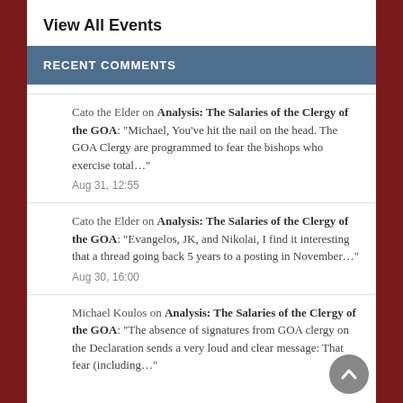View All Events
RECENT COMMENTS
Cato the Elder on Analysis: The Salaries of the Clergy of the GOA: "Michael, You've hit the nail on the head. The GOA Clergy are programmed to fear the bishops who exercise total…" Aug 31, 12:55
Cato the Elder on Analysis: The Salaries of the Clergy of the GOA: "Evangelos, JK, and Nikolai, I find it interesting that a thread going back 5 years to a posting in November…" Aug 30, 16:00
Michael Koulos on Analysis: The Salaries of the Clergy of the GOA: "The absence of signatures from GOA clergy on the Declaration sends a very loud and clear message: That fear (including…"